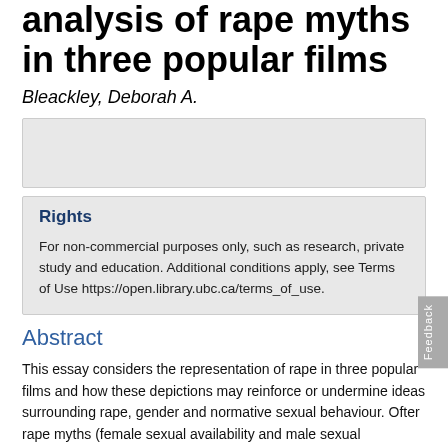analysis of rape myths in three popular films
Bleackley, Deborah A.
Rights
For non-commercial purposes only, such as research, private study and education. Additional conditions apply, see Terms of Use https://open.library.ubc.ca/terms_of_use.
Abstract
This essay considers the representation of rape in three popular films and how these depictions may reinforce or undermine ideas surrounding rape, gender and normative sexual behaviour. Often rape myths (female sexual availability and male sexual aggression) are mobilized in conjunction with the depiction of